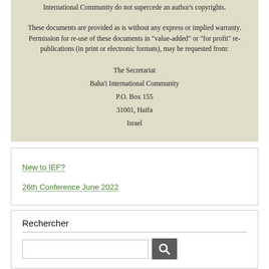International Community do not supercede an author's copyrights.

These documents are provided as is without any express or implied warranty. Permission for re-use of these documents in "value-added" or "for profit" re-publications (in print or electronic formats), may be requested from:

The Secretariat
Baha'i International Community
P.O. Box 155
31001, Haifa
Israel
New to IEF?
26th Conference June 2022
Rechercher